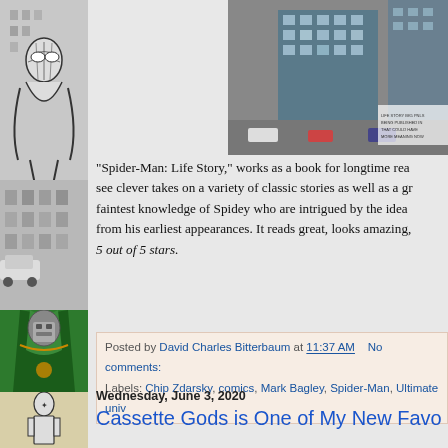[Figure (illustration): Left sidebar with comic book artwork: black and white Spider-Man illustration at top, Doctor Doom in green cloak in middle, and a masked figure at bottom]
[Figure (photo): Aerial/overhead photo of city street with buildings and cars, top right of page]
"Spider-Man: Life Story," works as a book for longtime readers who want to see clever takes on a variety of classic stories as well as a great... faintest knowledge of Spidey who are intrigued by the idea... from his earliest appearances. It reads great, looks amazing, 5 out of 5 stars.
Posted by David Charles Bitterbaum at 11:37 AM   No comments:
Labels: Chip Zdarsky, comics, Mark Bagley, Spider-Man, Ultimate univ...
Wednesday, June 3, 2020
Cassette Gods is One of My New Favo...
[Figure (screenshot): Cassette Gods blog banner with colorful cartoon lettering on pink/red background]